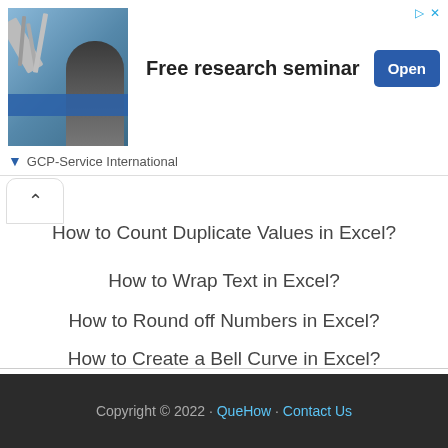[Figure (screenshot): Advertisement banner for 'Free research seminar' from GCP-Service International showing a woman and medical tools image, with Open button]
How to Count Duplicate Values in Excel?
How to Wrap Text in Excel?
How to Round off Numbers in Excel?
How to Create a Bell Curve in Excel?
Copyright © 2022 · QueHow · Contact Us